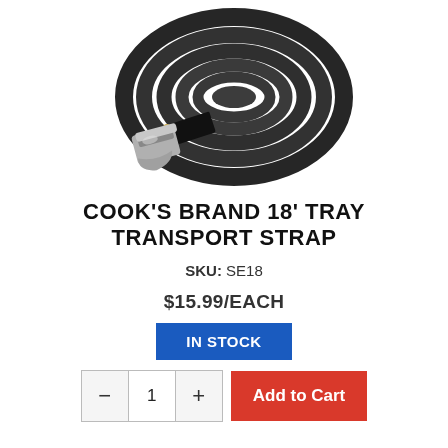[Figure (photo): A coiled black nylon strap with a silver metal cam buckle, shown on a white background. The strap is rolled into a tight coil.]
COOK'S BRAND 18' TRAY TRANSPORT STRAP
SKU: SE18
$15.99/EACH
IN STOCK
- 1 + Add to Cart